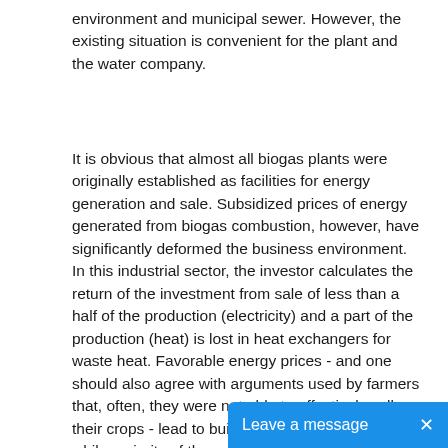environment and municipal sewer. However, the existing situation is convenient for the plant and the water company.
It is obvious that almost all biogas plants were originally established as facilities for energy generation and sale. Subsidized prices of energy generated from biogas combustion, however, have significantly deformed the business environment. In this industrial sector, the investor calculates the return of the investment from sale of less than a half of the production (electricity) and a part of the production (heat) is lost in heat exchangers for waste heat. Favorable energy prices - and one should also agree with arguments used by farmers that, often, they were not able to effectively sell their crops - lead to building larger biogas plants, while majority of these is processing maize silage at capacity ranging around 1 MW. There are many other wastes in agriculture and farming, though, and by-products from animal and cro
Leave a message  ×